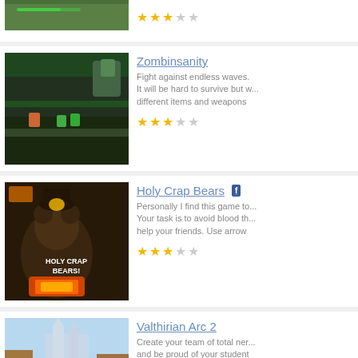[Figure (screenshot): Partial top game thumbnail (green/nature game)]
★★★☆☆ (3 stars rating)
[Figure (screenshot): Zombinsanity game thumbnail showing side-scrolling platformer with zombies]
Zombinsanity
Fight against endless waves. It will be hard to survive but w... different items and weapons
★★★☆☆ (3 stars rating)
[Figure (screenshot): Holy Crap Bears game thumbnail showing a bear near a fireplace with text HOLY CRAP BEARS!]
Holy Crap Bears
Personally I find this game to... Your task is to avoid blood th... help your friends. Use arrow
★★★☆☆ (3 stars rating)
[Figure (screenshot): Valthirian Arc 2 game thumbnail showing a fantasy town with castle in background]
Valthirian Arc 2
Create your team of total ner... and be proud of your student
★★★☆☆ (3 stars rating)
[Figure (screenshot): Partial bottom game thumbnail (purple/action game)]
Monkey Sc...